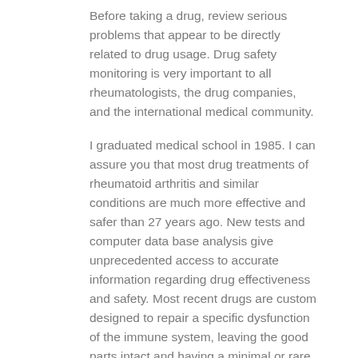Before taking a drug, review serious problems that appear to be directly related to drug usage. Drug safety monitoring is very important to all rheumatologists, the drug companies, and the international medical community.
I graduated medical school in 1985. I can assure you that most drug treatments of rheumatoid arthritis and similar conditions are much more effective and safer than 27 years ago. New tests and computer data base analysis give unprecedented access to accurate information regarding drug effectiveness and safety. Most recent drugs are custom designed to repair a specific dysfunction of the immune system, leaving the good parts intact and having a minimal or rare impact on other parts of the body.
Please keep in mind that the basis of all modern medicine is weighing the benefits of the drug or surgery versus the risks of the illness. This is known